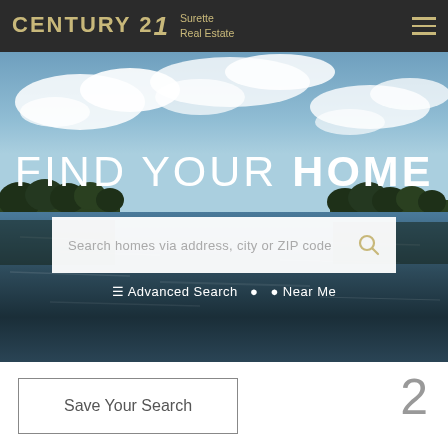CENTURY 21 Surette Real Estate
[Figure (photo): Lakeside landscape photo with blue sky, white clouds, forested shoreline, and water reflections. Background hero image for the real estate website.]
FIND YOUR HOME
Search homes via address, city or ZIP code
Advanced Search   Near Me
Save Your Search
2